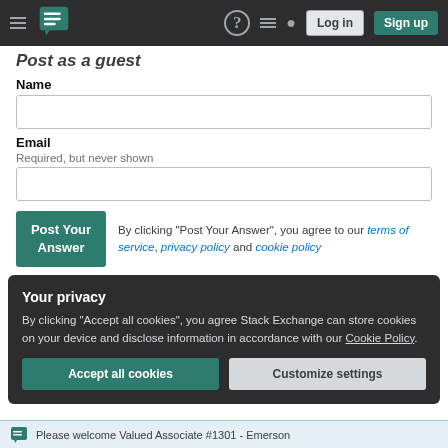Stack Exchange navigation bar with hamburger menu, logo, help icon, chat icon, search icon, Log in button, Sign up button
Post as a guest
Name
Email
Required, but never shown
By clicking "Post Your Answer", you agree to our terms of service, privacy policy and cookie policy
Your privacy
By clicking "Accept all cookies", you agree Stack Exchange can store cookies on your device and disclose information in accordance with our Cookie Policy.
Please welcome Valued Associate #1301 - Emerson